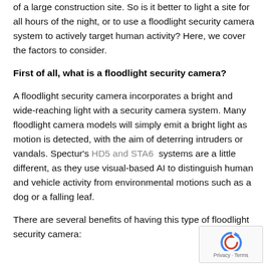of a large construction site. So is it better to light a site for all hours of the night, or to use a floodlight security camera system to actively target human activity? Here, we cover the factors to consider.
First of all, what is a floodlight security camera?
A floodlight security camera incorporates a bright and wide-reaching light with a security camera system. Many floodlight camera models will simply emit a bright light as motion is detected, with the aim of deterring intruders or vandals. Spectur's HD5 and STA6 systems are a little different, as they use visual-based AI to distinguish human and vehicle activity from environmental motions such as a dog or a falling leaf.
There are several benefits of having this type of floodlight security camera:
[Figure (other): reCAPTCHA widget with Privacy and Terms links]